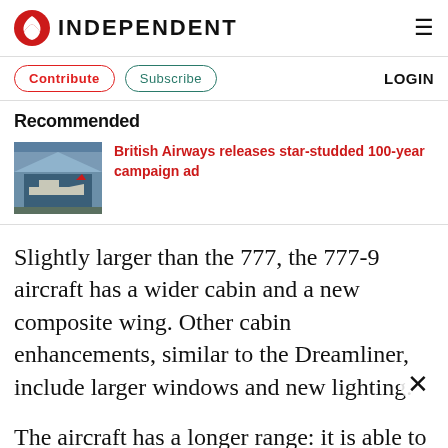INDEPENDENT
Recommended
[Figure (photo): British Airways aircraft in hangar thumbnail image]
British Airways releases star-studded 100-year campaign ad
Slightly larger than the 777, the 777-9 aircraft has a wider cabin and a new composite wing. Other cabin enhancements, similar to the Dreamliner, include larger windows and new lighting.
The aircraft has a longer range: it is able to fly 7,600 nautical miles (14,075km), which is the